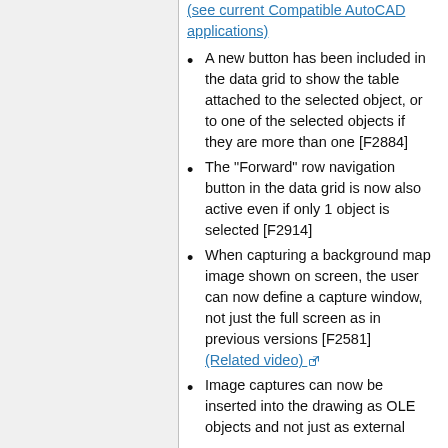(see current Compatible AutoCAD applications)
A new button has been included in the data grid to show the table attached to the selected object, or to one of the selected objects if they are more than one [F2884]
The "Forward" row navigation button in the data grid is now also active even if only 1 object is selected [F2914]
When capturing a background map image shown on screen, the user can now define a capture window, not just the full screen as in previous versions [F2581] (Related video)
Image captures can now be inserted into the drawing as OLE objects and not just as external